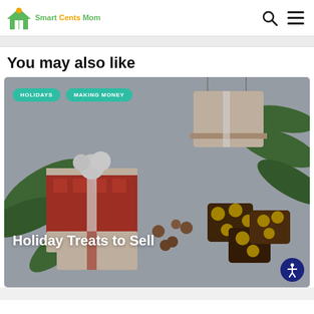Smart Cents Mom
You may also like
[Figure (photo): Promotional card image for a blog post titled 'Holiday Treats to Sell' on Smart Cents Mom. Shows festive red and white Christmas gift boxes, pine branches, hazelnuts, and chocolate nut clusters. Tags shown: HOLIDAYS, MAKING MONEY.]
Holiday Treats to Sell